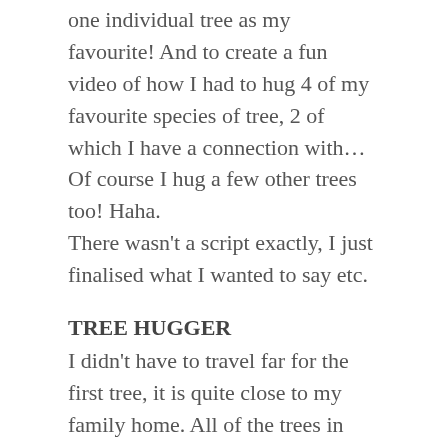one individual tree as my favourite!  And to create a fun video of how I had to hug 4 of my favourite species of tree, 2 of which I have a connection with…  Of course I hug a few other trees too!  Haha.
There wasn't a script exactly, I just finalised what I wanted to say etc.
TREE HUGGER
I didn't have to travel far for the first tree, it is quite close to my family home.  All of the trees in fact weren't too far away.  I decided I would do the Intro and Outro for the video at an ancient woodland/nature reserve approx 10 minutes walk away.